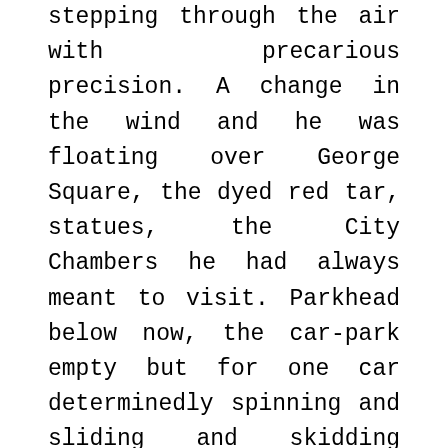stepping through the air with precarious precision. A change in the wind and he was floating over George Square, the dyed red tar, statues, the City Chambers he had always meant to visit. Parkhead below now, the car-park empty but for one car determinedly spinning and sliding and skidding around, the empty stadium, the white lines of the pitch framed by the emerald turf. Floating into mysterious East End regions he had never visited. Rows of smokeless chimneys (he sits in his bubble now, getting tired). Some houses now instead of flats. Ralph yawns heavily. Buildings thinning out. More green. Rests head against side of his